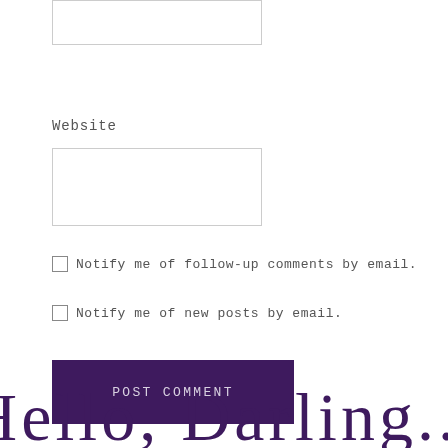Website
Notify me of follow-up comments by email.
Notify me of new posts by email.
POST COMMENT
[Figure (illustration): Partial cursive/script logo text at the bottom of the page, in dark purple color]